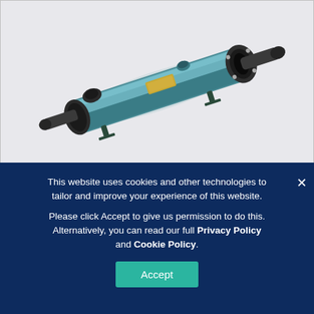[Figure (photo): A teal/green industrial heat exchanger or UV sterilizer unit with black plastic fittings on both ends, mounting brackets, and a gold label plate, shown on a light gray background.]
This website uses cookies and other technologies to tailor and improve your experience of this website.
Please click Accept to give us permission to do this. Alternatively, you can read our full Privacy Policy and Cookie Policy.